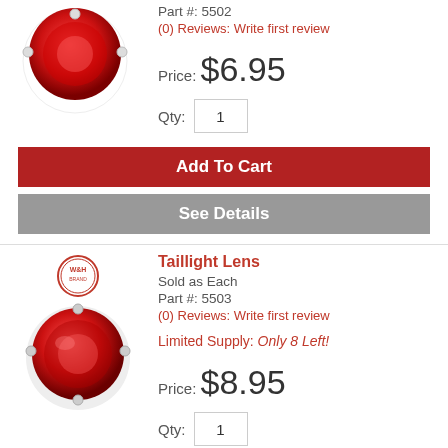[Figure (photo): Red round taillight lens product image (top, cropped)]
Part #: 5502
(0) Reviews: Write first review
Price: $6.95
Qty: 1
Add To Cart
See Details
[Figure (logo): Small circular brand badge/stamp logo]
Taillight Lens
Sold as Each
Part #: 5503
(0) Reviews: Write first review
[Figure (photo): Red round taillight lens product image (bottom item)]
Limited Supply: Only 8 Left!
Price: $8.95
Qty: 1
Add To Cart (partial, cropped)